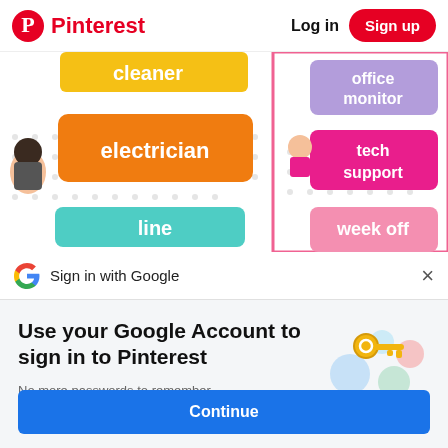Pinterest  Log in  Sign up
[Figure (screenshot): Colorful classroom job cards showing 'electrician' on orange, 'office monitor' on purple, 'tech support' on pink, 'line' on teal, and 'week off' partially visible, with cartoon children illustrations on a polka dot background.]
Sign in with Google
Use your Google Account to sign in to Pinterest
No more passwords to remember. Signing in is fast, simple and secure.
[Figure (illustration): Google account key illustration with a golden key and colorful circular shapes on a light background.]
Continue